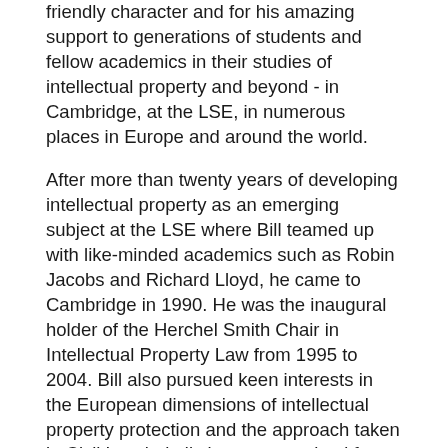friendly character and for his amazing support to generations of students and fellow academics in their studies of intellectual property and beyond - in Cambridge, at the LSE, in numerous places in Europe and around the world.
After more than twenty years of developing intellectual property as an emerging subject at the LSE where Bill teamed up with like-minded academics such as Robin Jacobs and Richard Lloyd, he came to Cambridge in 1990. He was the inaugural holder of the Herchel Smith Chair in Intellectual Property Law from 1995 to 2004. Bill also pursued keen interests in the European dimensions of intellectual property protection and the approach taken in Civil Law jurisdictions - recognised for example by his election as Scientific Member to the (then) Max Planck Institute for Foreign and International Patent, Copyright and Competition Law (now MPI for Innovation and Competition) in Munich. Bill's global reach as a scholar is further reflected in his role as President of the international Association for Teaching and Research in